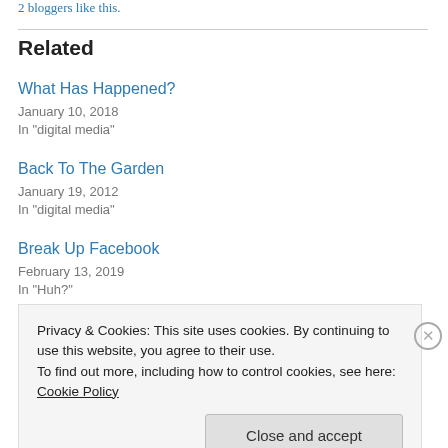2 bloggers like this.
Related
What Has Happened?
January 10, 2018
In "digital media"
Back To The Garden
January 19, 2012
In "digital media"
Break Up Facebook
February 13, 2019
In "Huh?"
Privacy & Cookies: This site uses cookies. By continuing to use this website, you agree to their use.
To find out more, including how to control cookies, see here: Cookie Policy
Close and accept